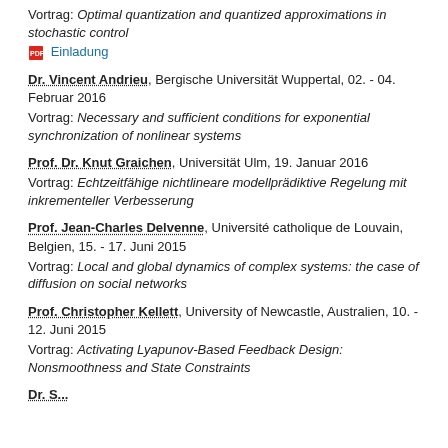Vortrag: Optimal quantization and quantized approximations in stochastic control
Einladung
Dr. Vincent Andrieu, Bergische Universität Wuppertal, 02. - 04. Februar 2016
Vortrag: Necessary and sufficient conditions for exponential synchronization of nonlinear systems
Prof. Dr. Knut Graichen, Universität Ulm, 19. Januar 2016
Vortrag: Echtzeitfähige nichtlineare modellprädiktive Regelung mit inkrementeller Verbesserung
Prof. Jean-Charles Delvenne, Université catholique de Louvain, Belgien, 15. - 17. Juni 2015
Vortrag: Local and global dynamics of complex systems: the case of diffusion on social networks
Prof. Christopher Kellett, University of Newcastle, Australien, 10. - 12. Juni 2015
Vortrag: Activating Lyapunov-Based Feedback Design: Nonsmoothness and State Constraints
Dr. S...